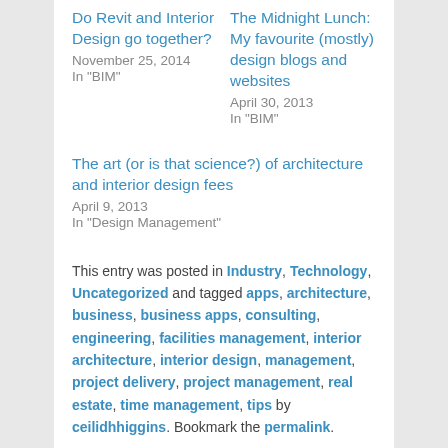Do Revit and Interior Design go together?
November 25, 2014
In "BIM"
The Midnight Lunch: My favourite (mostly) design blogs and websites
April 30, 2013
In "BIM"
The art (or is that science?) of architecture and interior design fees
April 9, 2013
In "Design Management"
This entry was posted in Industry, Technology, Uncategorized and tagged apps, architecture, business, business apps, consulting, engineering, facilities management, interior architecture, interior design, management, project delivery, project management, real estate, time management, tips by ceilidhhiggins. Bookmark the permalink.